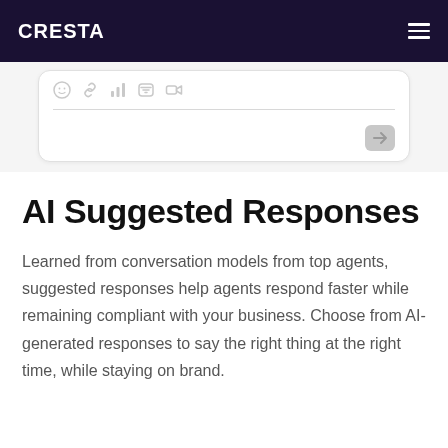CRESTA
[Figure (screenshot): Partial chat input box UI with emoji, link, chart, phone, and video icons, a horizontal divider line, and a send button (arrow icon) in the bottom right corner.]
AI Suggested Responses
Learned from conversation models from top agents, suggested responses help agents respond faster while remaining compliant with your business. Choose from AI-generated responses to say the right thing at the right time, while staying on brand.